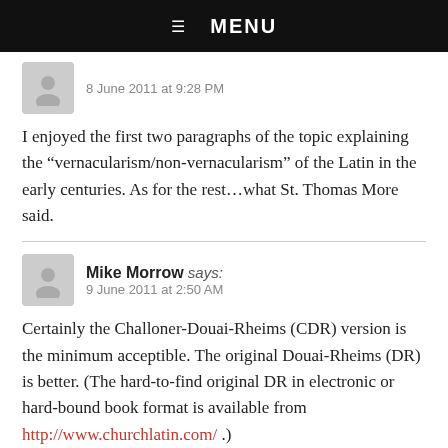☰  MENU
8 June 2011 at 9:28 PM
I enjoyed the first two paragraphs of the topic explaining the “vernacularism/non-vernacularism” of the Latin in the early centuries. As for the rest…what St. Thomas More said.
Mike Morrow says:
9 June 2011 at 2:50 AM
Certainly the Challoner-Douai-Rheims (CDR) version is the minimum acceptible. The original Douai-Rheims (DR) is better. (The hard-to-find original DR in electronic or hard-bound book format is available from http://www.churchlatin.com/ .)
Any version of a Catholic bible will suffer when compared to